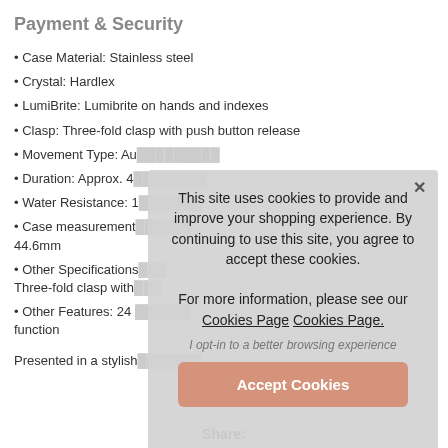Payment & Security
• Case Material: Stainless steel
• Crystal: Hardlex
• LumiBrite: Lumibrite on hands and indexes
• Clasp: Three-fold clasp with push button release
• Movement Type: Au...
• Duration: Approx. 4...
• Water Resistance: 1...
• Case measurement... 44.6mm
• Other Specifications... Three-fold clasp with...
• Other Features: 24 p... function
Presented in a stylish...
[Figure (screenshot): Cookie consent modal overlay with text: 'This site uses cookies to provide and improve your shopping experience. By continuing to use this site, you agree to accept these cookies. For more information, please see our Cookies Page Cookies Page.' with an 'I opt-in to a better browsing experience' link and an 'Accept Cookies' button.]
Share: